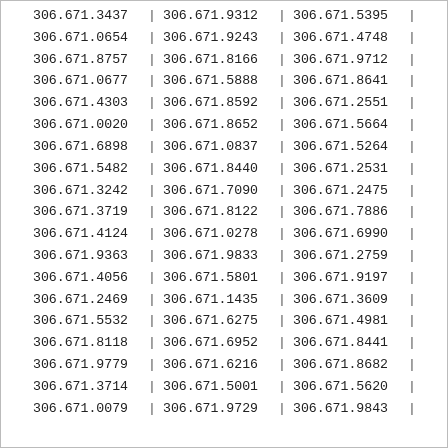| Col1 | Sep1 | Col2 | Sep2 | Col3 | Sep3 |
| --- | --- | --- | --- | --- | --- |
| 306.671.3437 | | | 306.671.9312 | | | 306.671.5395 | | |
| 306.671.0654 | | | 306.671.9243 | | | 306.671.4748 | | |
| 306.671.8757 | | | 306.671.8166 | | | 306.671.9712 | | |
| 306.671.0677 | | | 306.671.5888 | | | 306.671.8641 | | |
| 306.671.4303 | | | 306.671.8592 | | | 306.671.2551 | | |
| 306.671.0020 | | | 306.671.8652 | | | 306.671.5664 | | |
| 306.671.6898 | | | 306.671.0837 | | | 306.671.5264 | | |
| 306.671.5482 | | | 306.671.8440 | | | 306.671.2531 | | |
| 306.671.3242 | | | 306.671.7090 | | | 306.671.2475 | | |
| 306.671.3719 | | | 306.671.8122 | | | 306.671.7886 | | |
| 306.671.4124 | | | 306.671.0278 | | | 306.671.6990 | | |
| 306.671.9363 | | | 306.671.9833 | | | 306.671.2759 | | |
| 306.671.4056 | | | 306.671.5801 | | | 306.671.9197 | | |
| 306.671.2469 | | | 306.671.1435 | | | 306.671.3609 | | |
| 306.671.5532 | | | 306.671.6275 | | | 306.671.4981 | | |
| 306.671.8118 | | | 306.671.6952 | | | 306.671.8441 | | |
| 306.671.9779 | | | 306.671.6216 | | | 306.671.8682 | | |
| 306.671.3714 | | | 306.671.5001 | | | 306.671.5620 | | |
| 306.671.0079 | | | 306.671.9729 | | | 306.671.9843 | | |